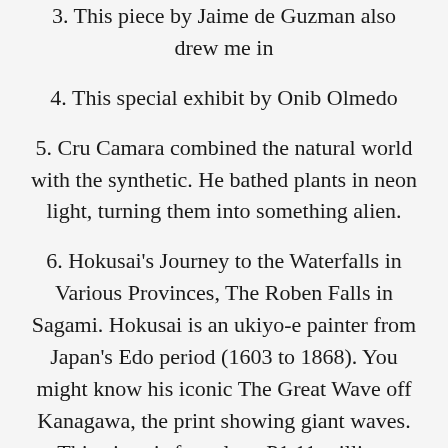3. This piece by Jaime de Guzman also drew me in
4. This special exhibit by Onib Olmedo
5. Cru Camara combined the natural world with the synthetic. He bathed plants in neon light, turning them into something alien.
6. Hokusai's Journey to the Waterfalls in Various Provinces, The Roben Falls in Sagami. Hokusai is an ukiyo-e painter from Japan's Edo period (1603 to 1868). You might know his iconic The Great Wave off Kanagawa, the print showing giant waves. This piece is for sale at P1.11 million.
7. Some Yayoi Kusama. She's a